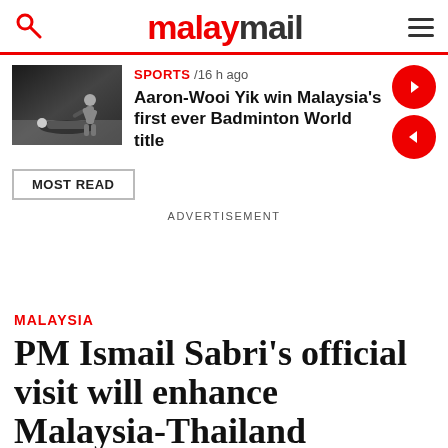malaymail
[Figure (photo): Badminton player lying on court celebrating]
SPORTS / 16 h ago
Aaron-Wooi Yik win Malaysia's first ever Badminton World title
MOST READ
ADVERTISEMENT
MALAYSIA
PM Ismail Sabri's official visit will enhance Malaysia-Thailand bilateral ties